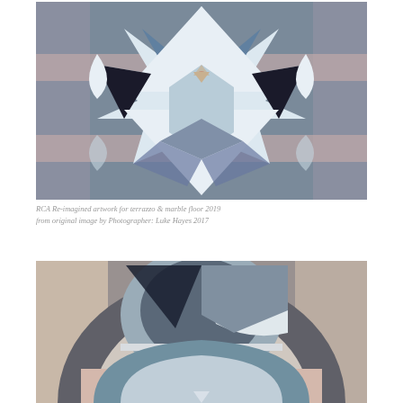[Figure (photo): Kaleidoscopic terrazzo and marble floor pattern with geometric shapes — triangles, diamonds, and star forms in blue-grey, white, black, and pink/mauve tones arranged symmetrically]
RCA Re-imagined artwork for terrazzo & marble floor 2019 from original image by Photographer: Luke Hayes 2017
[Figure (photo): Close-up of terrazzo and marble floor showing circular arc design with dark grey, light blue-grey, white and pink/peach granular terrazzo sections forming concentric arcs]